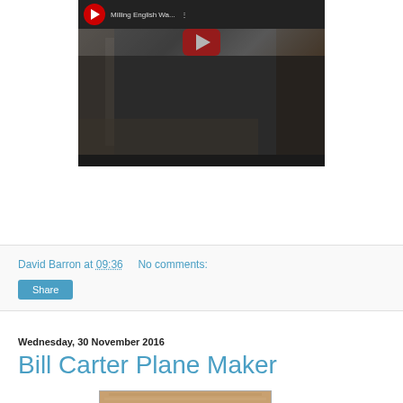[Figure (screenshot): YouTube video thumbnail showing 'Milling English Wa...' with red YouTube play button logo at top left, large red play button in center, dark video content behind showing woodworking/milling scene]
David Barron at 09:36    No comments:
[Figure (screenshot): Share button — blue rectangular button with white text 'Share']
Wednesday, 30 November 2016
Bill Carter Plane Maker
[Figure (photo): Partial photo at bottom of page, brownish/wooden content, partially cropped]